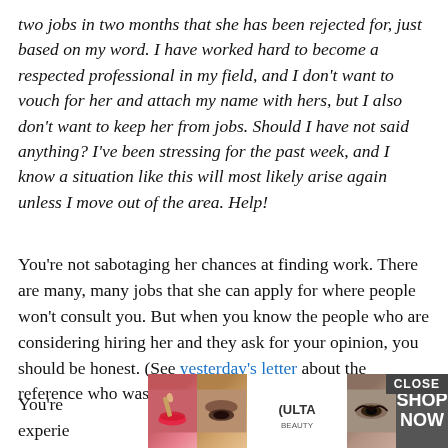two jobs in two months that she has been rejected for, just based on my word. I have worked hard to become a respected professional in my field, and I don't want to vouch for her and attach my name with hers, but I also don't want to keep her from jobs. Should I have not said anything? I've been stressing for the past week, and I know a situation like this will most likely arise again unless I move out of the area. Help!
You're not sabotaging her chances at finding work. There are many, many jobs that she can apply for where people won't consult you. But when you know the people who are considering hiring her and they ask for your opinion, you should be honest. (See yesterday's letter about the reference who wasn't honest for an example of why!)
You're ... your experie... d also
[Figure (other): Ulta Beauty advertisement banner showing close-up images of women with makeup, the Ulta Beauty logo, and a 'SHOP NOW' button with a 'CLOSE' button overlay]